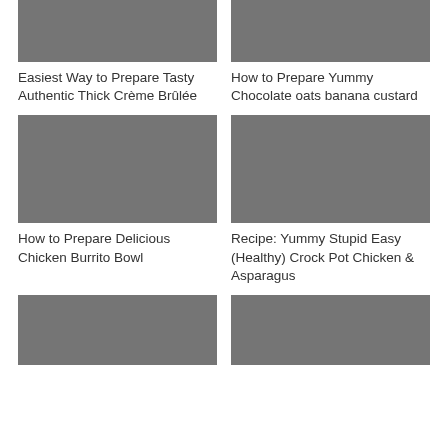[Figure (photo): Gray placeholder image for food recipe - top left]
Easiest Way to Prepare Tasty Authentic Thick Crème Brûlée
[Figure (photo): Gray placeholder image for food recipe - top right]
How to Prepare Yummy Chocolate oats banana custard
[Figure (photo): Gray placeholder image for food recipe - middle left]
How to Prepare Delicious Chicken Burrito Bowl
[Figure (photo): Gray placeholder image for food recipe - middle right]
Recipe: Yummy Stupid Easy (Healthy) Crock Pot Chicken & Asparagus
[Figure (photo): Gray placeholder image for food recipe - bottom left]
[Figure (photo): Gray placeholder image for food recipe - bottom right]